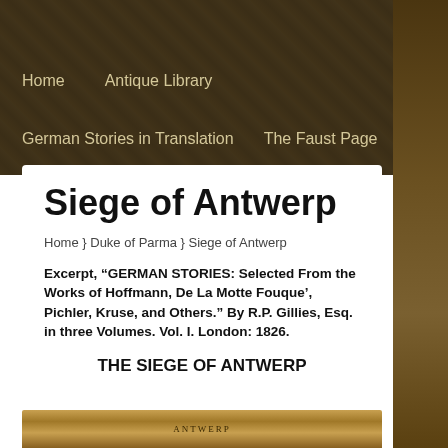Home   Antique Library
German Stories in Translation   The Faust Page
Siege of Antwerp
Home } Duke of Parma } Siege of Antwerp
Excerpt, “GERMAN STORIES: Selected From the Works of Hoffmann, De La Motte Fouque’, Pichler, Kruse, and Others.” By R.P. Gillies, Esq. in three Volumes. Vol. I. London: 1826.
THE SIEGE OF ANTWERP
[Figure (photo): Bottom strip showing an antique book image with golden/brown tones and decorative text]